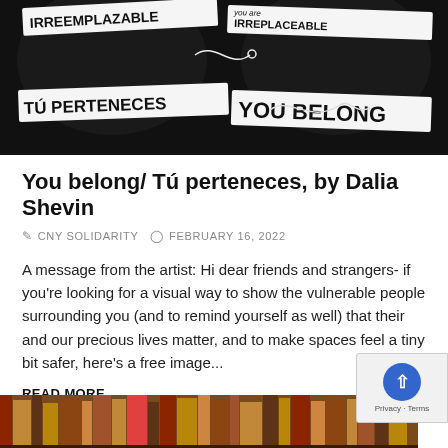[Figure (illustration): Black and white illustration showing two figures with banners. Left side has text 'IRREEMPLAZABLE' and 'TÚ PERTENECES'. Right side has 'you are IRREPLACEABLE' and 'YOU BELONG'. A needle and thread connects the two sides.]
You belong/ Tú perteneces, by Dalia Shevin
CNY SOLIDARITY   FEBRUARY 16, 2022
A message from the artist: Hi dear friends and strangers- if you're looking for a visual way to show the vulnerable people surrounding you (and to remind yourself as well) that their and our precious lives matter, and to make spaces feel a tiny bit safer, here's a free image...
READ MORE
[Figure (photo): Partial photo of bookshelf with books visible at the bottom of the page.]